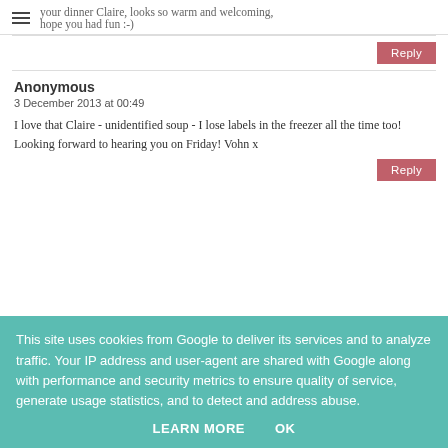your dinner Claire, looks so warm and welcoming, hope you had fun :-)
Reply
Anonymous
3 December 2013 at 00:49
I love that Claire - unidentified soup - I lose labels in the freezer all the time too! Looking forward to hearing you on Friday! Vohn x
Reply
This site uses cookies from Google to deliver its services and to analyze traffic. Your IP address and user-agent are shared with Google along with performance and security metrics to ensure quality of service, generate usage statistics, and to detect and address abuse.
LEARN MORE   OK